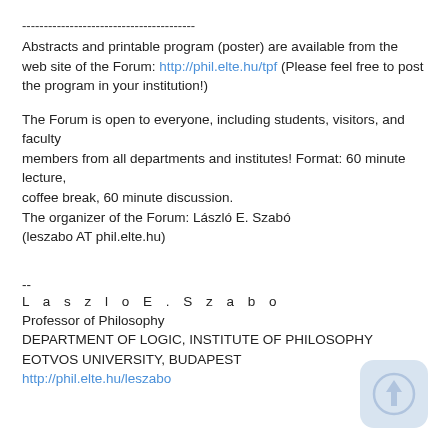----------------------------------------
Abstracts and printable program (poster) are available from the web site of the Forum: http://phil.elte.hu/tpf (Please feel free to post the program in your institution!)
The Forum is open to everyone, including students, visitors, and faculty
members from all departments and institutes! Format: 60 minute lecture,
coffee break, 60 minute discussion.
The organizer of the Forum: László E. Szabó
(leszabo AT phil.elte.hu)
--
Laszlo E. Szabo
Professor of Philosophy
DEPARTMENT OF LOGIC, INSTITUTE OF PHILOSOPHY
EOTVOS UNIVERSITY, BUDAPEST
http://phil.elte.hu/leszabo